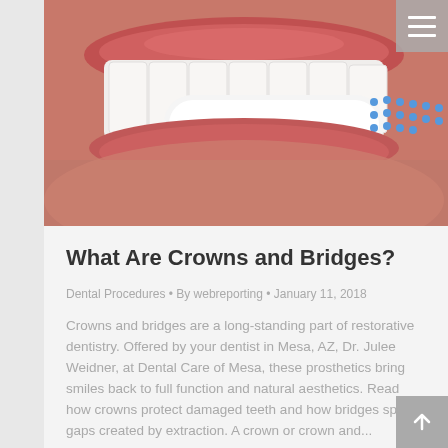[Figure (photo): Close-up photo of a person brushing teeth with a blue and white toothbrush, showing lips and teeth]
What Are Crowns and Bridges?
Dental Procedures • By webreporting • January 11, 2018
Crowns and bridges are a long-standing part of restorative dentistry. Offered by your dentist in Mesa, AZ, Dr. Julee Weidner, at Dental Care of Mesa, these prosthetics bring smiles back to full function and natural aesthetics. Read how crowns protect damaged teeth and how bridges span gaps created by extraction. A crown or crown and...